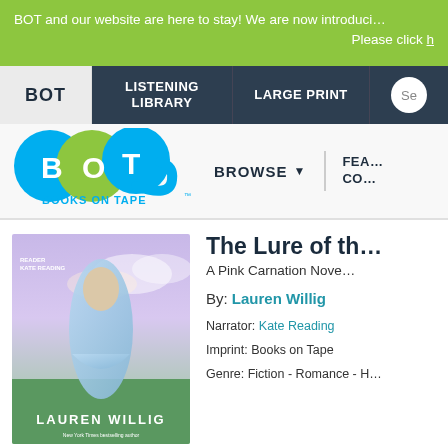BOT and our website are here to stay! We are now introduci… Please click h…
[Figure (screenshot): Navigation bar with BOT, LISTENING LIBRARY, LARGE PRINT, and Search options on dark navy background]
[Figure (logo): BOT Books on Tape logo with colorful circular B O T letters]
BROWSE ▼
FEA… CO…
[Figure (illustration): Book cover for The Lure of the Moonflower by Lauren Willig, showing a woman in a blue dress, read by Kate Reading]
The Lure of th…
A Pink Carnation Nove…
By: Lauren Willig
Narrator: Kate Reading
Imprint: Books on Tape
Genre: Fiction - Romance - H…